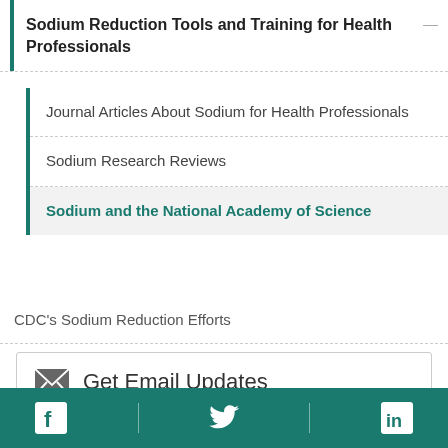Sodium Reduction Tools and Training for Health Professionals
Journal Articles About Sodium for Health Professionals
Sodium Research Reviews
Sodium and the National Academy of Science
CDC's Sodium Reduction Efforts
Get Email Updates